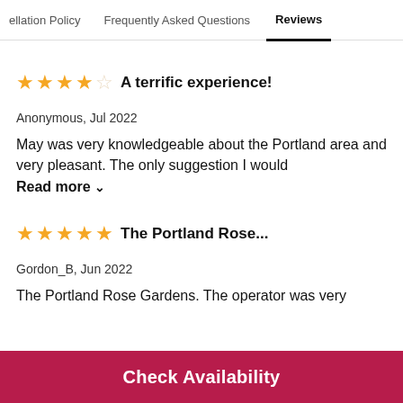...ellation Policy   Frequently Asked Questions   Reviews
★★★★☆  A terrific experience!
Anonymous, Jul 2022
May was very knowledgeable about the Portland area and very pleasant. The only suggestion I would
Read more ∨
★★★★★  The Portland Rose...
Gordon_B, Jun 2022
The Portland Rose Gardens. The operator was very
Check Availability